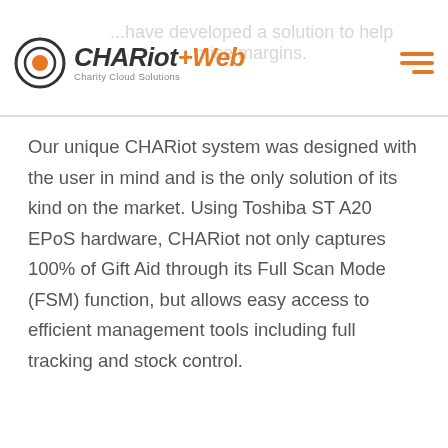[Figure (logo): CHARiot+Web Charity Cloud Solutions logo with circular orange target icon]
...have developed a solution to help ...mise margins.
Our unique CHARiot system was designed with the user in mind and is the only solution of its kind on the market. Using Toshiba ST A20 EPoS hardware, CHARiot not only captures 100% of Gift Aid through its Full Scan Mode (FSM) function, but allows easy access to efficient management tools including full tracking and stock control.